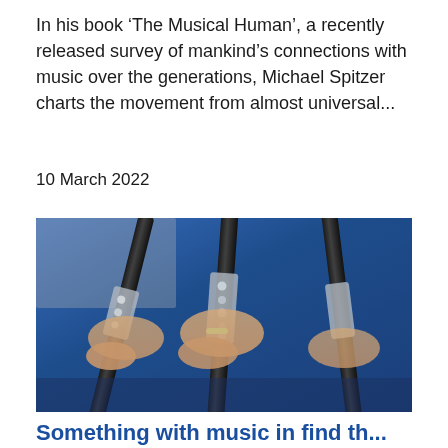In his book ‘The Musical Human’, a recently released survey of mankind’s connections with music over the generations, Michael Spitzer charts the movement from almost universal...
10 March 2022
[Figure (photo): Close-up photo of multiple people in blue clothing playing clarinets, focusing on their hands and the instruments]
Something with music in find th...